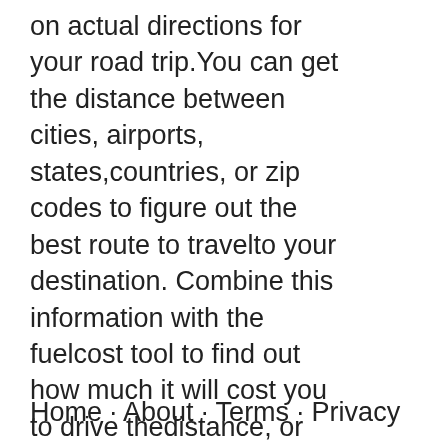on actual directions for your road trip.You can get the distance between cities, airports, states,countries, or zip codes to figure out the best route to travelto your destination. Combine this information with the fuelcost tool to find out how much it will cost you to drive thedistance, or compare the results to the straight linedistance to determine whether it"s better to drive or fly.You can print out pages with a travel map.
Home · About · Terms · Privacy